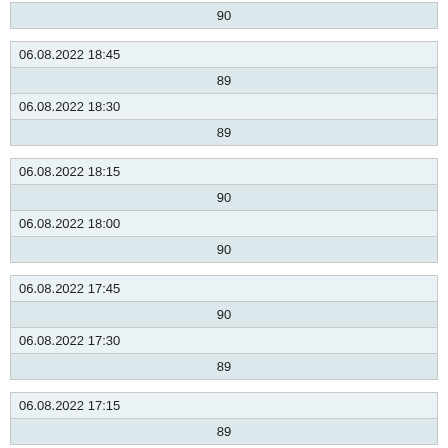| 90 |
| 06.08.2022 18:45 |  |
| 89 |  |
| 06.08.2022 18:30 |  |
| 89 |  |
| 06.08.2022 18:15 |  |
| 90 |  |
| 06.08.2022 18:00 |  |
| 90 |  |
| 06.08.2022 17:45 |  |
| 90 |  |
| 06.08.2022 17:30 |  |
| 89 |  |
| 06.08.2022 17:15 |  |
| 89 |  |